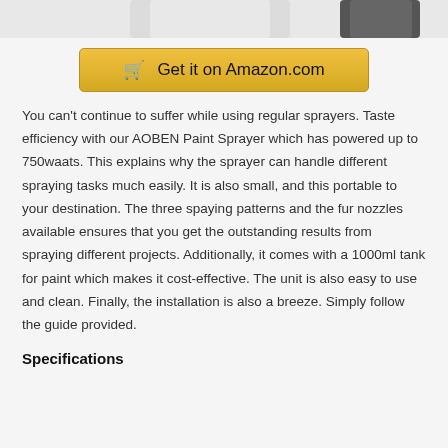[Figure (photo): Partial top view of paint sprayer product image, cropped at top of page]
Get it on Amazon.com
You can't continue to suffer while using regular sprayers. Taste efficiency with our AOBEN Paint Sprayer which has powered up to 750waats. This explains why the sprayer can handle different spraying tasks much easily. It is also small, and this portable to your destination. The three spaying patterns and the fur nozzles available ensures that you get the outstanding results from spraying different projects. Additionally, it comes with a 1000ml tank for paint which makes it cost-effective. The unit is also easy to use and clean. Finally, the installation is also a breeze. Simply follow the guide provided.
Specifications